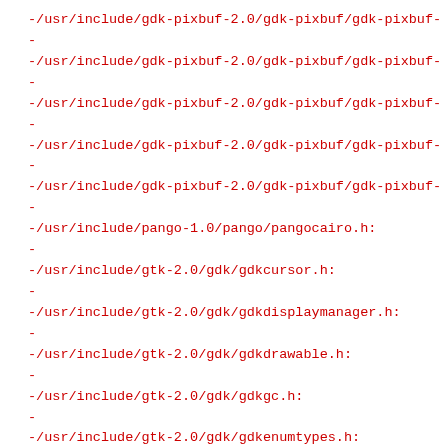-/usr/include/gdk-pixbuf-2.0/gdk-pixbuf/gdk-pixbuf-
-
-/usr/include/gdk-pixbuf-2.0/gdk-pixbuf/gdk-pixbuf-
-
-/usr/include/gdk-pixbuf-2.0/gdk-pixbuf/gdk-pixbuf-
-
-/usr/include/gdk-pixbuf-2.0/gdk-pixbuf/gdk-pixbuf-
-
-/usr/include/gdk-pixbuf-2.0/gdk-pixbuf/gdk-pixbuf-
-
-/usr/include/pango-1.0/pango/pangocairo.h:
-
-/usr/include/gtk-2.0/gdk/gdkcursor.h:
-
-/usr/include/gtk-2.0/gdk/gdkdisplaymanager.h:
-
-/usr/include/gtk-2.0/gdk/gdkdrawable.h:
-
-/usr/include/gtk-2.0/gdk/gdkgc.h:
-
-/usr/include/gtk-2.0/gdk/gdkenumtypes.h:
-
-/usr/include/gtk-2.0/gdk/gdkfont.h:
-
-/usr/include/gtk-2.0/gdk/gdkimage.h:
-
-/usr/include/gtk-2.0/gdk/gdkkeys.h:
-
-/usr/include/gtk-2.0/gdk/gdkpango.h: